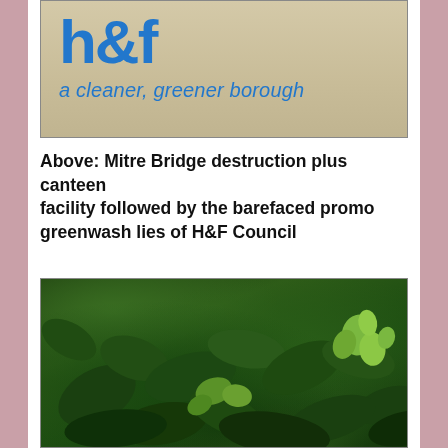[Figure (photo): Photo of H&F Council promotional material showing blue text logo 'h&f' and tagline 'a cleaner, greener borough' on a beige/tan background]
Above: Mitre Bridge destruction plus canteen facility followed by the barefaced promo greenwash lies of H&F Council
[Figure (photo): Close-up photo of green leafy plants/shrubs with small flowers, dark green foliage with lighter green flower buds]